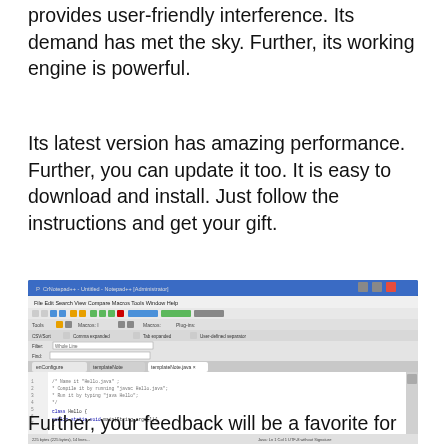provides user-friendly interference. Its demand has met the sky. Further, its working engine is powerful.
Its latest version has amazing performance. Further, you can update it too. It is easy to download and install. Just follow the instructions and get your gift.
[Figure (screenshot): Screenshot of a Java IDE (text editor) showing a Hello World Java program with toolbar, menu bar, and code editor area displaying Java source code.]
Further, your feedback will be a favorite for